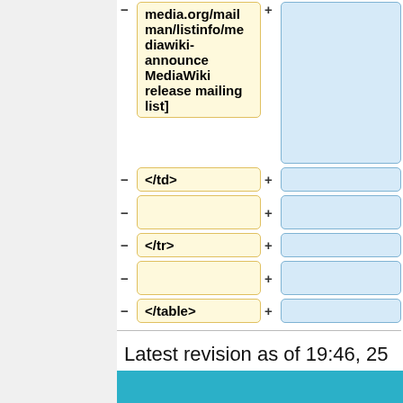| media.org/mailman/listinfo/mediawiki-announce MediaWiki release mailing list] |  |
| </td> |  |
|  |  |
| </tr> |  |
|  |  |
| </table> |  |
Latest revision as of 19:46, 25 August 2022
[Figure (other): Teal/blue bar at bottom of page]